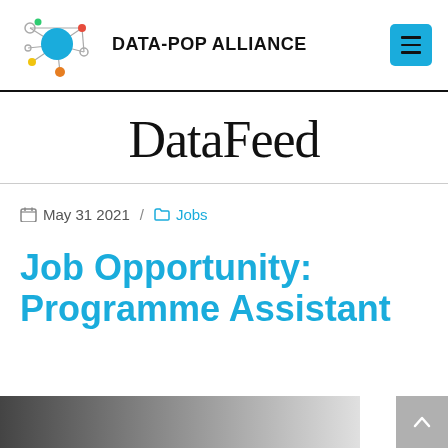[Figure (logo): Data-Pop Alliance logo: network graph with blue circle center and colored nodes, beside bold text DATA-POP ALLIANCE]
DataFeed
May 31 2021 / Jobs
Job Opportunity: Programme Assistant